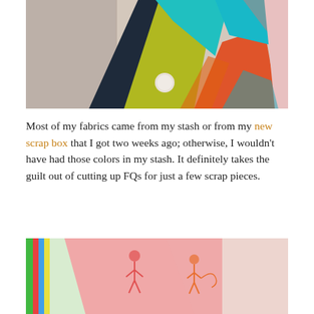[Figure (photo): A colorful patchwork quilt with fabrics in teal, yellow-green, navy blue, orange, gray floral, and pink patterns arranged in angular shapes on a light background.]
Most of my fabrics came from my stash or from my new scrap box that I got two weeks ago; otherwise, I wouldn't have had those colors in my stash. It definitely takes the guilt out of cutting up FQs for just a few scrap pieces.
[Figure (photo): A pink pillow or fabric with illustrated fairy/ballerina figures printed on it, placed against a white background with a colorful edge visible at top left.]